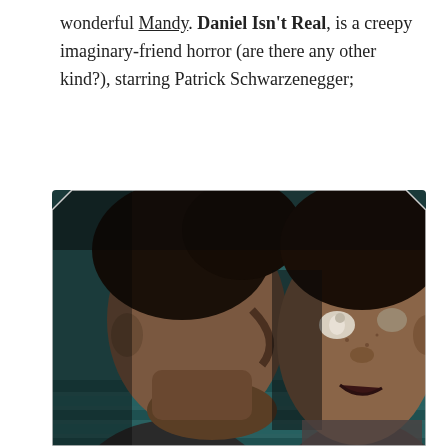wonderful Mandy. Daniel Isn't Real, is a creepy imaginary-friend horror (are there any other kind?), starring Patrick Schwarzenegger;
[Figure (photo): A dark cinematic still from the film 'Daniel Isn't Real' showing two young men face-to-face in a tense confrontation. The figure on the right has unsettling white eyes. Dark teal/teal background. High contrast, moody lighting.]